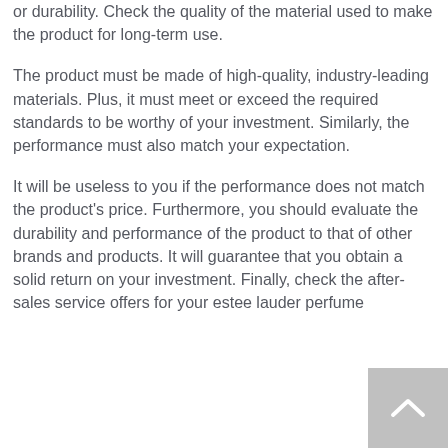or durability. Check the quality of the material used to make the product for long-term use.
The product must be made of high-quality, industry-leading materials. Plus, it must meet or exceed the required standards to be worthy of your investment. Similarly, the performance must also match your expectation.
It will be useless to you if the performance does not match the product's price. Furthermore, you should evaluate the durability and performance of the product to that of other brands and products. It will guarantee that you obtain a solid return on your investment. Finally, check the after-sales service offers for your estee lauder perfume